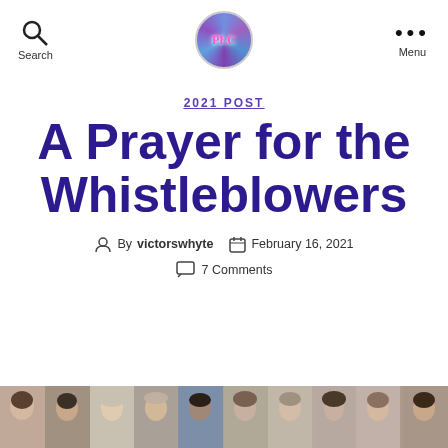Search | PLC logo | Menu
2021 POST
A Prayer for the Whistleblowers
By victorswhyte  February 16, 2021  7 Comments
[Figure (photo): Strip of portrait photos of multiple people at the bottom of the page]